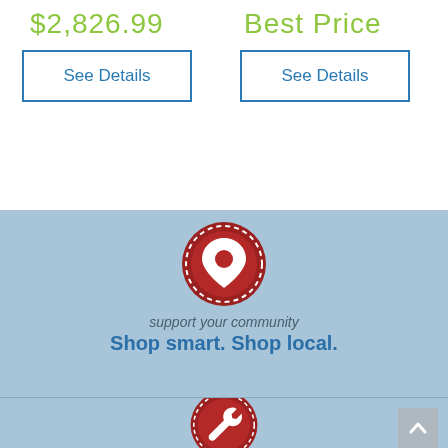$2,826.99
Best Price
See Details
See Details
[Figure (illustration): Red circular badge with white location pin icon and dashed border]
support your community
Shop smart. Shop local.
[Figure (illustration): Red circular badge with white wrench icon, partially visible at bottom]
[Figure (other): Gray scroll-to-top button with upward chevron arrow]